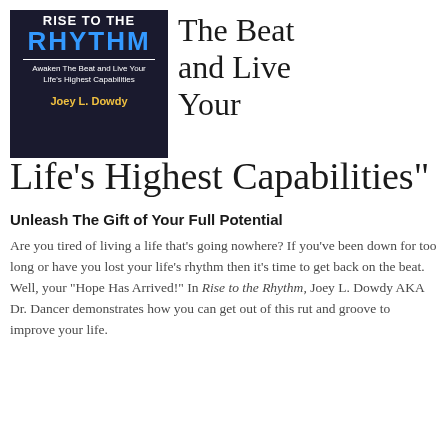[Figure (illustration): Book cover of 'Rise to the Rhythm' by Joey L. Dowdy. Dark navy background with 'RISE TO THE RHYTHM' in bold white/blue text, subtitle 'Awaken The Beat and Live Your Life's Highest Capabilities', and author name 'Joey L. Dowdy' in gold text.]
The Beat and Live Your Life's Highest Capabilities"
Unleash The Gift of Your Full Potential
Are you tired of living a life that's going nowhere? If you've been down for too long or have you lost your life's rhythm then it's time to get back on the beat. Well, your “Hope Has Arrived!” In Rise to the Rhythm, Joey L. Dowdy AKA Dr. Dancer demonstrates how you can get out of this rut and groove to improve your life.